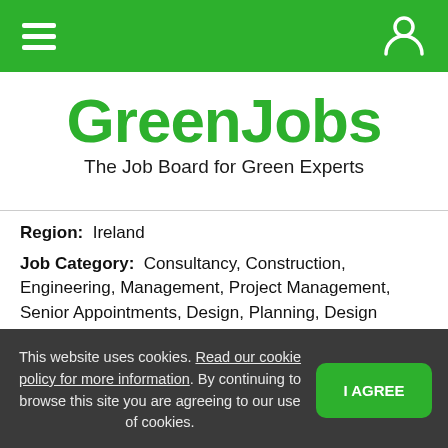GreenJobs navigation bar with hamburger menu and user icon
GreenJobs
The Job Board for Green Experts
Region: Ireland
Job Category: Consultancy, Construction, Engineering, Management, Project Management, Senior Appointments, Design, Planning, Design Engineer, Environmental Engineering, Aviation & Aerospace
This website uses cookies. Read our cookie policy for more information. By continuing to browse this site you are agreeing to our use of cookies. I AGREE